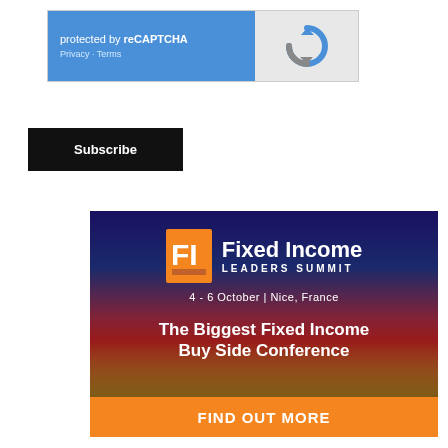[Figure (screenshot): reCAPTCHA widget with blue left panel reading 'protected by reCAPTCHA' and 'Privacy · Terms', and grey right panel with reCAPTCHA logo icon]
[Figure (other): Black Subscribe button]
[Figure (other): Fixed Income Leaders Summit advertisement banner. Dark blue-to-gold gradient background with cityscape. Logo: orange FI icon + 'Fixed Income LEADERS SUMMIT'. Date: '4 - 6 October | Nice, France'. Tagline: 'The Biggest Fixed Income Buy Side Conference'. Orange bottom strip with 'FIND OUT MORE' CTA.]